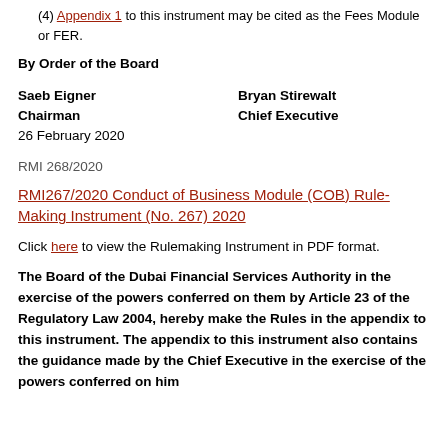(4) Appendix 1 to this instrument may be cited as the Fees Module or FER.
By Order of the Board
Saeb Eigner
Chairman
26 February 2020

Bryan Stirewalt
Chief Executive
RMI 268/2020
RMI267/2020 Conduct of Business Module (COB) Rule-Making Instrument (No. 267) 2020
Click here to view the Rulemaking Instrument in PDF format.
The Board of the Dubai Financial Services Authority in the exercise of the powers conferred on them by Article 23 of the Regulatory Law 2004, hereby make the Rules in the appendix to this instrument. The appendix to this instrument also contains the guidance made by the Chief Executive in the exercise of the powers conferred on him